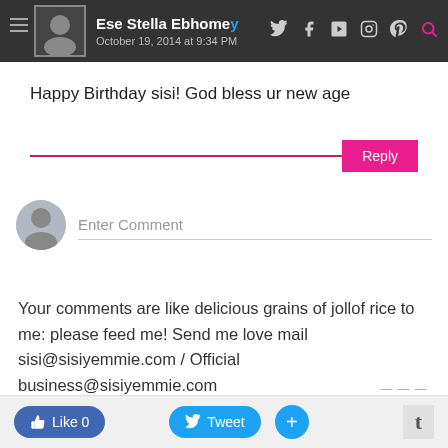Ese Stella Ebhomey — October 19, 2014 at 9:34 PM
Happy Birthday sisi! God bless ur new age
Enter Comment
Your comments are like delicious grains of jollof rice to me: please feed me! Send me love mail sisi@sisiyemmie.com / Official business@sisiyemmie.com
Like 0  Tweet  +  t